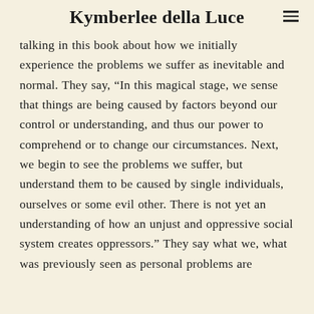Kymberlee della Luce
talking in this book about how we initially experience the problems we suffer as inevitable and normal. They say, “In this magical stage, we sense that things are being caused by factors beyond our control or understanding, and thus our power to comprehend or to change our circumstances. Next, we begin to see the problems we suffer, but understand them to be caused by single individuals, ourselves or some evil other. There is not yet an understanding of how an unjust and oppressive social system creates oppressors.” They say what we, what was previously seen as personal problems are